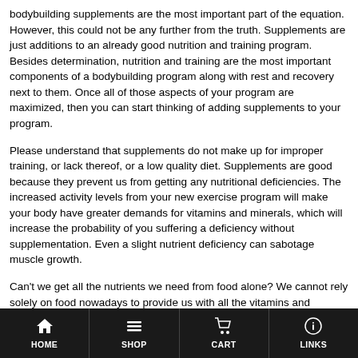bodybuilding supplements are the most important part of the equation. However, this could not be any further from the truth. Supplements are just additions to an already good nutrition and training program. Besides determination, nutrition and training are the most important components of a bodybuilding program along with rest and recovery next to them. Once all of those aspects of your program are maximized, then you can start thinking of adding supplements to your program.
Please understand that supplements do not make up for improper training, or lack thereof, or a low quality diet. Supplements are good because they prevent us from getting any nutritional deficiencies. The increased activity levels from your new exercise program will make your body have greater demands for vitamins and minerals, which will increase the probability of you suffering a deficiency without supplementation. Even a slight nutrient deficiency can sabotage muscle growth.
Can't we get all the nutrients we need from food alone? We cannot rely solely on food nowadays to provide us with all the vitamins and
HOME | SHOP | CART | LINKS